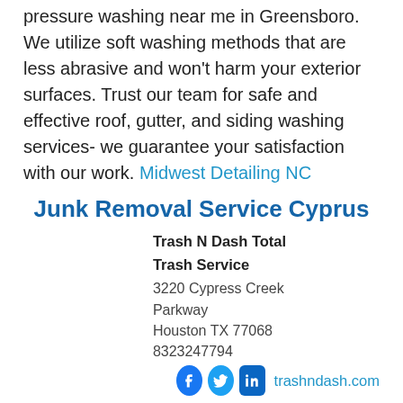pressure washing near me in Greensboro. We utilize soft washing methods that are less abrasive and won't harm your exterior surfaces. Trust our team for safe and effective roof, gutter, and siding washing services- we guarantee your satisfaction with our work. Midwest Detailing NC
Junk Removal Service Cyprus
Trash N Dash Total Trash Service
3220 Cypress Creek Parkway
Houston TX 77068
8323247794
trashndash.com
The next time you need to hire a junk removal service in Cyprus, keep Trash N Dash in mind for premier junk removal services designed to fit your budget. See our 5-star reviews online or check out FAQs for more information on our services. Don't hesitate to ber...